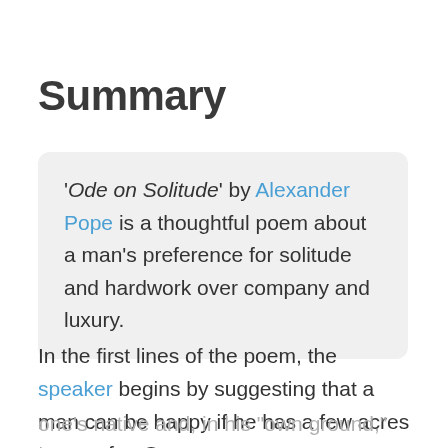Summary
'‘Ode on Solitude’ by Alexander Pope is a thoughtful poem about a man’s preference for solitude and hardwork over company and luxury.
In the first lines of the poem, the speaker begins by suggesting that a man can be happy if he has a few acres to care for. On one’s native and, in his “own ground,” one can tend their herds and take pleasure from